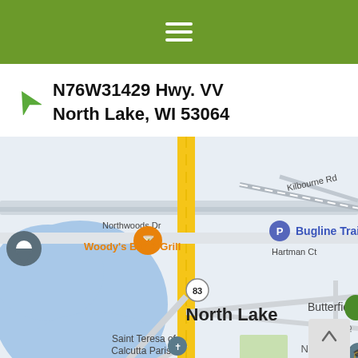[Figure (other): Green app header bar with hamburger menu icon (three white horizontal lines)]
N76W31429 Hwy. VV
North Lake, WI 53064
[Figure (map): Google Maps view of North Lake, WI area showing Northwoods Dr, Kilbourne Rd, Hartman Ct, Woody's Bar & Grill (orange pin), Bugline Trail Head (blue P marker), North Lake label, North Lake School District, Saint Teresa of Calcutta Parish, Merton Community park, Butterfield, and route 83. A lake is visible on the left side. A yellow road runs vertically through the center.]